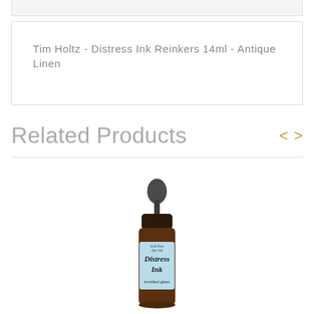Tim Holtz - Distress Ink Reinkers 14ml - Antique Linen
Related Products
[Figure (photo): A small glass dropper bottle of Distress Ink labeled 'Distress Ink' with 'tumbled glass' color, brown glass bottle with blue label and black dropper cap]